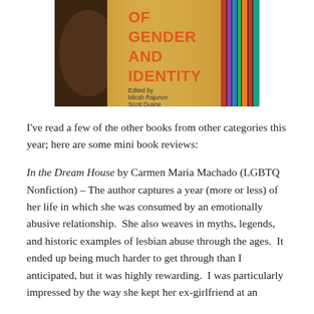[Figure (photo): A photograph of a book cover showing 'OF GENDER AND IDENTITY' in orange text, 'Edited by Micah Rajunov Scott Duane' below, with dark background showing books on a shelf.]
I've read a few of the other books from other categories this year; here are some mini book reviews:
In the Dream House by Carmen Maria Machado (LGBTQ Nonfiction) – The author captures a year (more or less) of her life in which she was consumed by an emotionally abusive relationship.  She also weaves in myths, legends, and historic examples of lesbian abuse through the ages.  It ended up being much harder to get through than I anticipated, but it was highly rewarding.  I was particularly impressed by the way she kept her ex-girlfriend at an